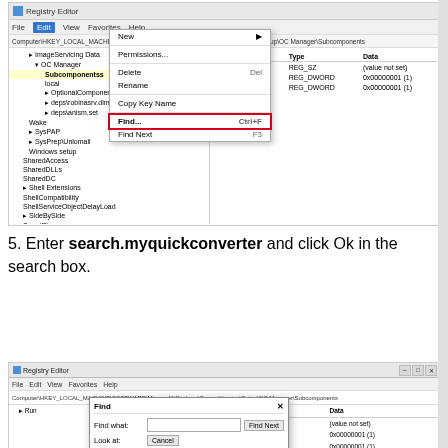[Figure (screenshot): Windows Registry Editor screenshot showing the Edit menu open with Find option highlighted, and right panel showing registry values including (Default) REG_SZ, IEAccesss REG_DWORD 0x00000001(1), winprocm REG_DWORD 0x00000001(1). Left tree panel shows Subcomponents selected and various tree items below.]
5. Enter search.myquickconverter and click Ok in the search box.
[Figure (screenshot): Windows Registry Editor screenshot showing a Find dialog box open with Find what: input field, Find Next button and Cancel button. Right panel shows Name column with Type REG_SZ, REG_DWORD, REG_DWORD and Data values (value not set), 0x00000001(1), 0x00000001(1).]